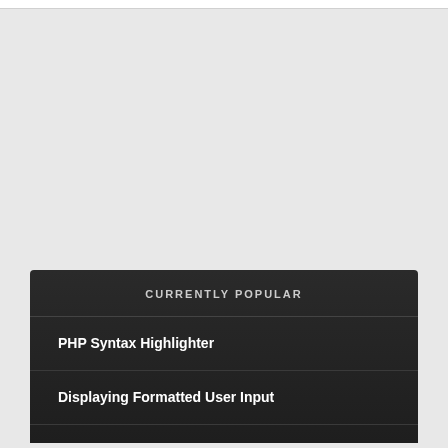CURRENTLY POPULAR
PHP Syntax Highlighter
Displaying Formatted User Input
Multiple inheritance in PHP
Making forms object-oriented
Creating MS Word documents on the fly